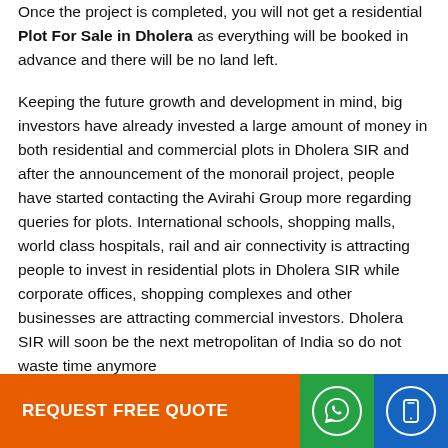Once the project is completed, you will not get a residential Plot For Sale in Dholera as everything will be booked in advance and there will be no land left.
Keeping the future growth and development in mind, big investors have already invested a large amount of money in both residential and commercial plots in Dholera SIR and after the announcement of the monorail project, people have started contacting the Avirahi Group more regarding queries for plots. International schools, shopping malls, world class hospitals, rail and air connectivity is attracting people to invest in residential plots in Dholera SIR while corporate offices, shopping complexes and other businesses are attracting commercial investors. Dholera SIR will soon be the next metropolitan of India so do not waste time anymore
REQUEST FREE QUOTE